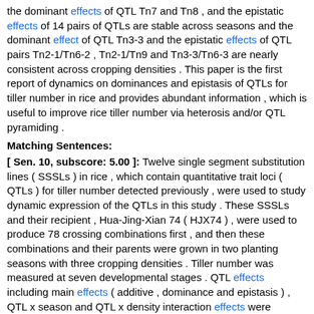the dominant effects of QTL Tn7 and Tn8 , and the epistatic effects of 14 pairs of QTLs are stable across seasons and the dominant effect of QTL Tn3-3 and the epistatic effects of QTL pairs Tn2-1/Tn6-2 , Tn2-1/Tn9 and Tn3-3/Tn6-3 are nearly consistent across cropping densities . This paper is the first report of dynamics on dominances and epistasis of QTLs for tiller number in rice and provides abundant information , which is useful to improve rice tiller number via heterosis and/or QTL pyramiding .
Matching Sentences:
[ Sen. 10, subscore: 5.00 ]: Twelve single segment substitution lines ( SSSLs ) in rice , which contain quantitative trait loci ( QTLs ) for tiller number detected previously , were used to study dynamic expression of the QTLs in this study . These SSSLs and their recipient , Hua-Jing-Xian 74 ( HJX74 ) , were used to produce 78 crossing combinations first , and then these combinations and their parents were grown in two planting seasons with three cropping densities . Tiller number was measured at seven developmental stages . QTL effects including main effects ( additive , dominance and epistasis ) , QTL x season and QTL x density interaction effects were analyzed at each measured stage . The additive , dominant and epistatic effects of the 12 QTLs as well as their interaction effects with the seasons and with the densities all display dynamic changes with the development . Eight QTLs are detected with significant additive effects and/or additive x season and/or additive x density interaction effects at least at one developmental stage , and all QTLs have significant dominant and epistatic effects and/or interaction effects involved in . For most of the QTLs dominant effects are much bigger than additive effects , showing overdominance . Each QTL interacts at least with eight other QTLs . Additive and dominant effects of these QTLs are mostly positive while epistatic effects are negative and minor . Most of the QTLs show significant interactions with planting seasons and cropping densities , but the additive effects of QTLs